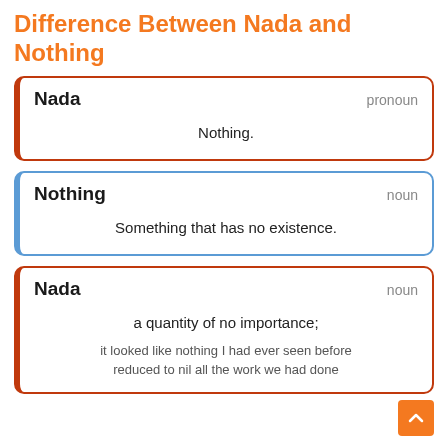Difference Between Nada and Nothing
| Word | Part of Speech | Definition |
| --- | --- | --- |
| Nada | pronoun | Nothing. |
| Nothing | noun | Something that has no existence. |
| Nada | noun | a quantity of no importance; it looked like nothing I had ever seen before reduced to nil all the work we had done |